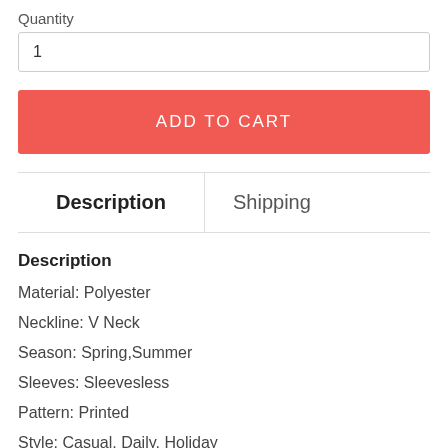Quantity
1
ADD TO CART
| Description | Shipping |
| --- | --- |
Description
Material: Polyester
Neckline: V Neck
Season: Spring,Summer
Sleeves: Sleevesless
Pattern: Printed
Style: Casual, Daily, Holiday